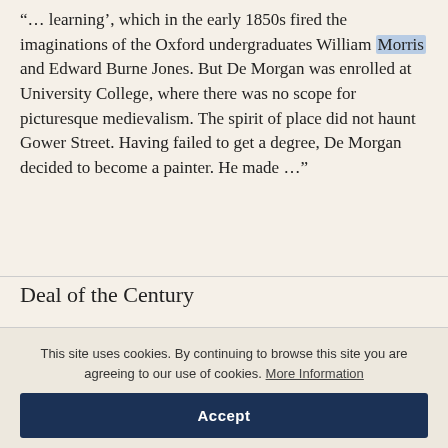“… learning’, which in the early 1850s fired the imaginations of the Oxford undergraduates William Morris and Edward Burne Jones. But De Morgan was enrolled at University College, where there was no scope for picturesque medievalism. The spirit of place did not haunt Gower Street. Having failed to get a degree, De Morgan decided to become a painter. He made …”
Deal of the Century
This site uses cookies. By continuing to browse this site you are agreeing to our use of cookies. More Information
Accept